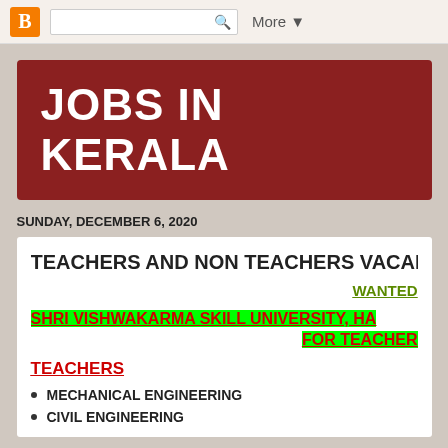Blogger navigation bar with search
JOBS IN KERALA
SUNDAY, DECEMBER 6, 2020
TEACHERS AND NON TEACHERS VACANCIES (C...
WANTED
SHRI VISHWAKARMA SKILL UNIVERSITY, HA... FOR TEACHER...
TEACHERS
MECHANICAL ENGINEERING
CIVIL ENGINEERING